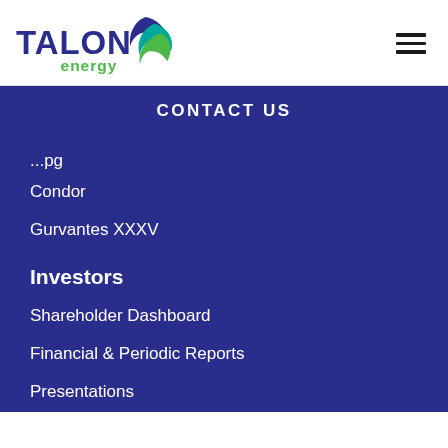[Figure (logo): Talon Energy logo with dark blue TALON text and green 'energy' text, with a stylized bird/talon graphic in blue and green]
CONTACT US
...pg
Condor
Gurvantes XXXV
Investors
Shareholder Dashboard
Financial & Periodic Reports
Presentations
Contact Us